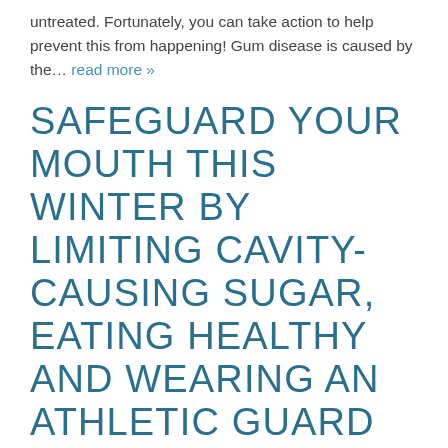untreated. Fortunately, you can take action to help prevent this from happening! Gum disease is caused by the... read more »
SAFEGUARD YOUR MOUTH THIS WINTER BY LIMITING CAVITY-CAUSING SUGAR, EATING HEALTHY AND WEARING AN ATHLETIC GUARD